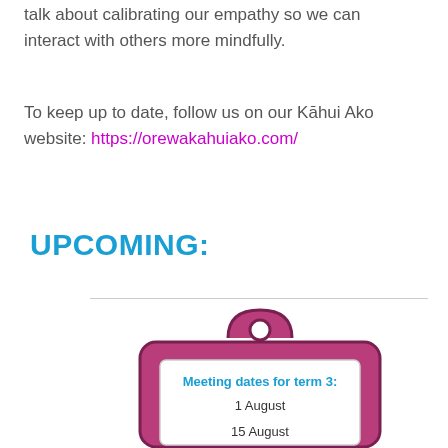talk about calibrating our empathy so we can interact with others more mindfully.
To keep up to date, follow us on our Kāhui Ako website: https://orewakahuiako.com/
UPCOMING:
[Figure (illustration): Clipboard illustration with 'Meeting dates for term 3:' header and dates '1 August' and '15 August' listed]